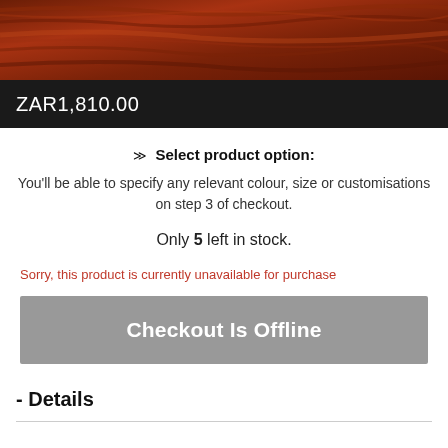[Figure (photo): Wooden surface texture in dark reddish-brown tones]
ZAR1,810.00
❯❯ Select product option:
You'll be able to specify any relevant colour, size or customisations on step 3 of checkout.
Only 5 left in stock.
Sorry, this product is currently unavailable for purchase
Checkout Is Offline
- Details